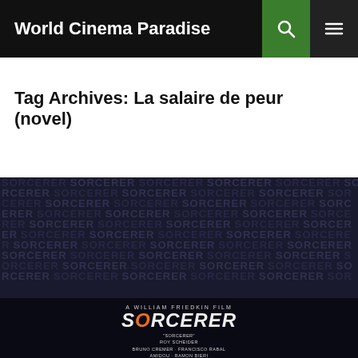World Cinema Paradise
Tag Archives: La salaire de peur (novel)
[Figure (photo): Movie poster for Sorcerer (William Friedkin film) showing the word SORCERER repeated in a dark blue/black graffiti-style pattern across the whole poster, with the film title in orange and white stylized lettering at the bottom, along with cast credits: SORCERER, ROY SCHEIDER, BRUNO CREMER, FRANCISCO RABAL, AMIDOU, RAMON BIERI, and partial crew credits.]